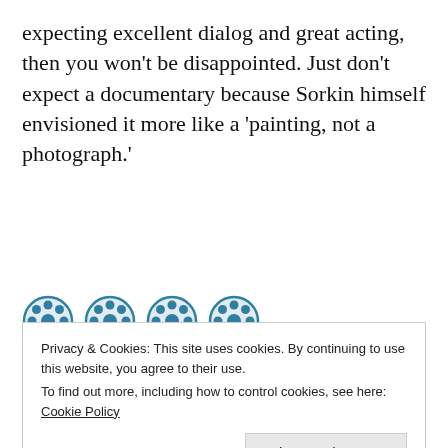expecting excellent dialog and great acting, then you won't be disappointed. Just don't expect a documentary because Sorkin himself envisioned it more like a 'painting, not a photograph.'
[Figure (illustration): 4 film reel icons in teal/blue color representing a rating of 4 out of 5 reels]
4 out of 5 reels
Privacy & Cookies: This site uses cookies. By continuing to use this website, you agree to their use. To find out more, including how to control cookies, see here: Cookie Policy
Close and accept